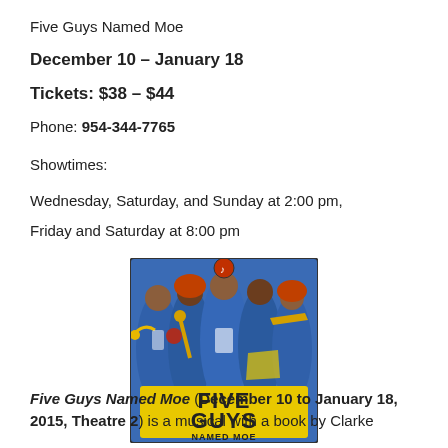Five Guys Named Moe
December 10 – January 18
Tickets: $38 – $44
Phone: 954-344-7765
Showtimes:
Wednesday, Saturday, and Sunday at 2:00 pm,
Friday and Saturday at 8:00 pm
[Figure (illustration): Illustrated poster for Five Guys Named Moe showing five jazz musicians in blue suits with instruments, with 'FIVE GUYS NAMED MOE' text in yellow at the bottom]
Five Guys Named Moe (December 10 to January 18, 2015, Theatre 2) is a musical with a book by Clarke